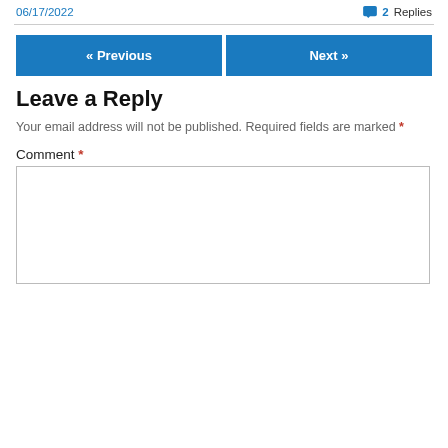06/17/2022   2 Replies
« Previous   Next »
Leave a Reply
Your email address will not be published. Required fields are marked *
Comment *